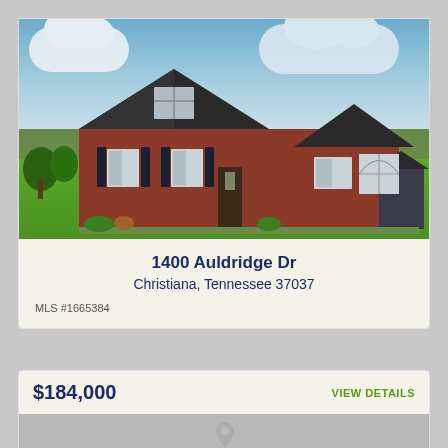[Figure (photo): Exterior photo of a brick house with dark shutters, dormer windows, arched window, green lawn, and cloudy sky]
1400 Auldridge Dr
Christiana, Tennessee 37037
MLS #1665384
$184,000
VIEW DETAILS
[Figure (map): Map placeholder area (grey/loading)]